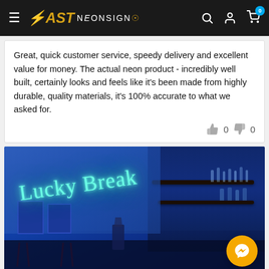FAST NEONSIGNS — navigation header
Great, quick customer service, speedy delivery and excellent value for money. The actual neon product - incredibly well built, certainly looks and feels like it's been made from highly durable, quality materials, it's 100% accurate to what we asked for.
[Figure (photo): Photo of a neon sign reading 'Lucky Break' in cyan/teal color mounted on a blue-lit wall above a bar area with shelves of glasses and bottles. A Messenger chat button is visible in the bottom right corner.]